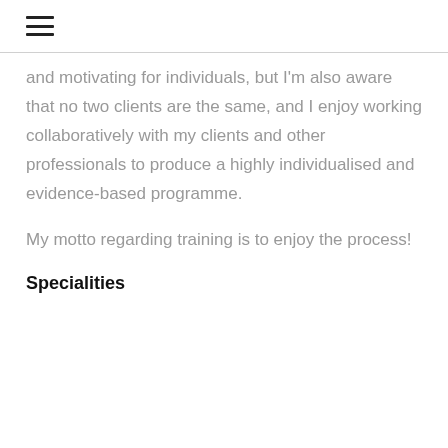≡
and motivating for individuals, but I'm also aware that no two clients are the same, and I enjoy working collaboratively with my clients and other professionals to produce a highly individualised and evidence-based programme.
My motto regarding training is to enjoy the process!
Specialities